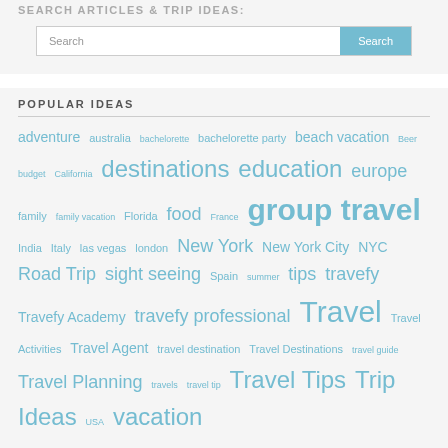SEARCH ARTICLES & TRIP IDEAS:
Search
POPULAR IDEAS
adventure australia bachelorette bachelorette party beach vacation Beer budget California destinations education europe family family vacation Florida food France group travel India Italy las vegas london New York New York City NYC Road Trip sight seeing Spain summer tips travefy Travefy Academy travefy professional Travel Travel Activities Travel Agent travel destination Travel Destinations travel guide Travel Planning travels travel tip Travel Tips Trip Ideas USA vacation